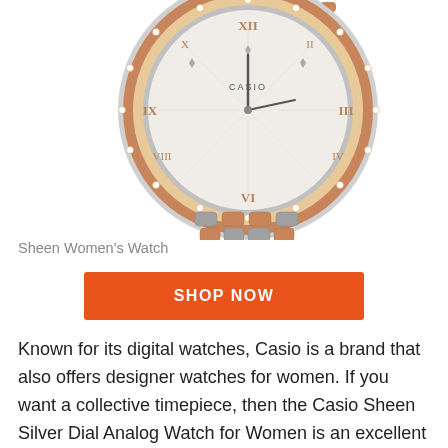[Figure (photo): Casio Sheen Women's Watch with rose gold and silver two-tone bracelet and stone-studded bezel, showing the watch face with Roman numerals]
Sheen Women's Watch
[Figure (other): Orange 'SHOP NOW' button]
Known for its digital watches, Casio is a brand that also offers designer watches for women. If you want a collective timepiece, then the Casio Sheen Silver Dial Analog Watch for Women is an excellent choice. This watch is not just a sparkling stone-studded product but a powerful